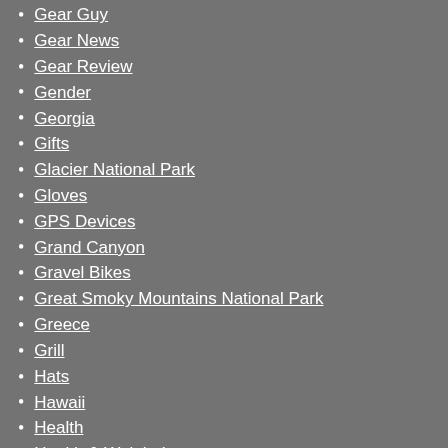Gear Guy
Gear News
Gear Review
Gender
Georgia
Gifts
Glacier National Park
Gloves
GPS Devices
Grand Canyon
Gravel Bikes
Great Smoky Mountains National Park
Greece
Grill
Hats
Hawaii
Health
Health & Weight Loss
Health and Beauty
health benefits of running
healthy BMI range
heart health and running
hiking
Hiking and Backpacking
Hiking Boots